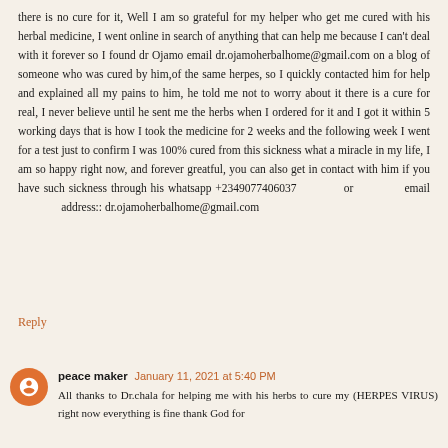there is no cure for it, Well I am so grateful for my helper who get me cured with his herbal medicine, I went online in search of anything that can help me because I can't deal with it forever so I found dr Ojamo email dr.ojamoherbalhome@gmail.com on a blog of someone who was cured by him,of the same herpes, so I quickly contacted him for help and explained all my pains to him, he told me not to worry about it there is a cure for real, I never believe until he sent me the herbs when I ordered for it and I got it within 5 working days that is how I took the medicine for 2 weeks and the following week I went for a test just to confirm I was 100% cured from this sickness what a miracle in my life, I am so happy right now, and forever greatful, you can also get in contact with him if you have such sickness through his whatsapp +2349077406037 or email address:: dr.ojamoherbalhome@gmail.com
Reply
peace maker  January 11, 2021 at 5:40 PM
All thanks to Dr.chala for helping me with his herbs to cure my (HERPES VIRUS) right now everything is fine thank God for everything, Dr.chala is the best medicine man that have ever lived in this